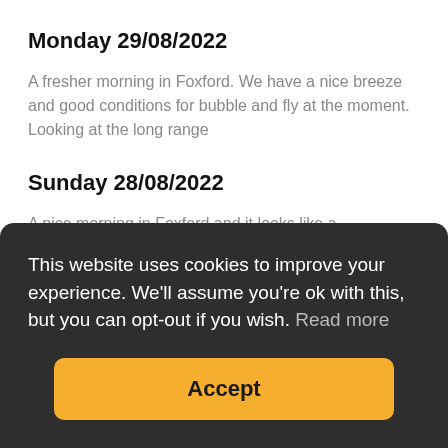Monday 29/08/2022
A fresher morning in Foxford. We have a nice breeze and good conditions for bubble and fly at the moment. Looking at the long range
Sunday 28/08/2022
A nice morning in Foxford and it looks like a reasonable
This website uses cookies to improve your experience. We'll assume you're ok with this, but you can opt-out if you wish.  Read more
Accept
now at 0.20m. That